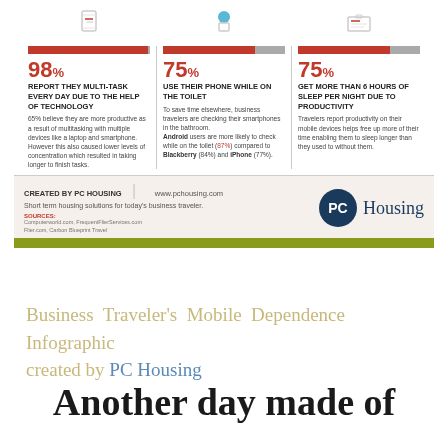[Figure (infographic): Business Traveler infographic bottom section showing three statistics: 98% report they multi-task every day due to the help of technology, 75% use their phone while on the toilet, 75% get more than 6 hours of sleep per night due to productivity. Footer with PC Housing branding and green stripe.]
Business Traveler's Mobile Dependence Infographic created by PC Housing
Another day made of